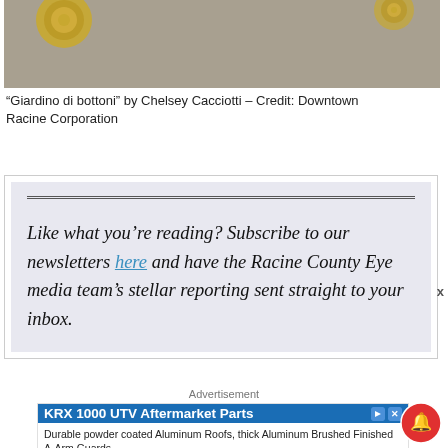[Figure (photo): Top portion of a photo showing decorative golden button-like shapes on a gray textured background — part of the 'Giardino di bottoni' artwork by Chelsey Cacciotti.]
“Giardino di bottoni” by Chelsey Cacciotti – Credit: Downtown Racine Corporation
Like what you’re reading? Subscribe to our newsletters here and have the Racine County Eye media team’s stellar reporting sent straight to your inbox.
Advertisement
[Figure (screenshot): Advertisement for KRX 1000 UTV Aftermarket Parts by Axiom Side by Side. Headline: 'KRX 1000 UTV Aftermarket Parts'. Body: 'Durable powder coated Aluminum Roofs, thick Aluminum Brushed Finished A-Arm Guards.' Source: 'Axiom Side by Side'. Button: 'Shop Now'.]